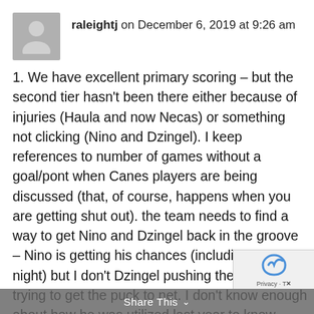raleightj on December 6, 2019 at 9:26 am
1. We have excellent primary scoring – but the second tier hasn't been there either because of injuries (Haula and now Necas) or something not clicking (Nino and Dzingel). I keep references to number of games without a goal/pont when Canes players are being discussed (that, of course, happens when you are getting shut out). the team needs to find a way to get Nino and Dzingel back in the groove – Nino is getting his chances (including last night) but I don't Dzingel pushing the puck or trying to get the puck to net. I don't know enough about how he was utilized last year to know
Share This